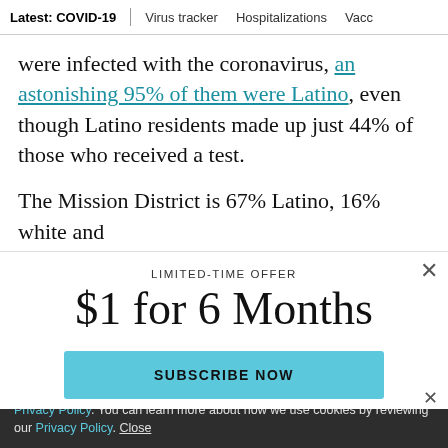Latest: COVID-19 | Virus tracker | Hospitalizations | Vacc
were infected with the coronavirus, an astonishing 95% of them were Latino, even though Latino residents made up just 44% of those who received a test.
The Mission District is 67% Latino, 16% white and
LIMITED-TIME OFFER
$1 for 6 Months
SUBSCRIBE NOW
By continuing to use our site, you agree to our Terms of Service and Privacy Policy. You can learn more about how we use cookies by reviewing our Privacy Policy. Close